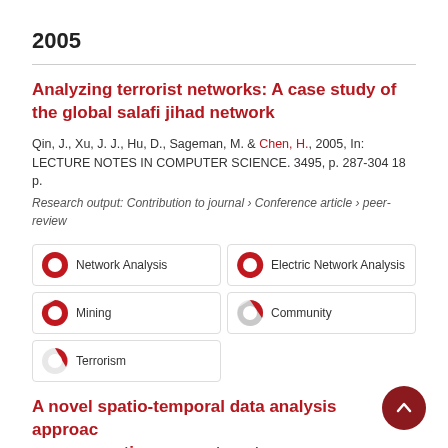2005
Analyzing terrorist networks: A case study of the global salafi jihad network
Qin, J., Xu, J. J., Hu, D., Sageman, M. & Chen, H., 2005, In: LECTURE NOTES IN COMPUTER SCIENCE. 3495, p. 287-304 18 p.
Research output: Contribution to journal › Conference article › peer-review
Network Analysis
Electric Network Analysis
Mining
Community
Terrorism
A novel spatio-temporal data analysis approach on prospective support vector clustering